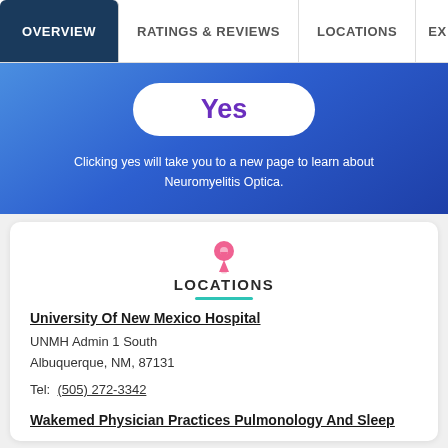OVERVIEW | RATINGS & REVIEWS | LOCATIONS | EX
[Figure (screenshot): Blue gradient banner with a white pill-shaped 'Yes' button and text 'Clicking yes will take you to a new page to learn about Neuromyelitis Optica.']
LOCATIONS
University Of New Mexico Hospital
UNMH Admin 1 South
Albuquerque, NM, 87131
Tel: (505) 272-3342
Wakemed Physician Practices Pulmonology And Sleep